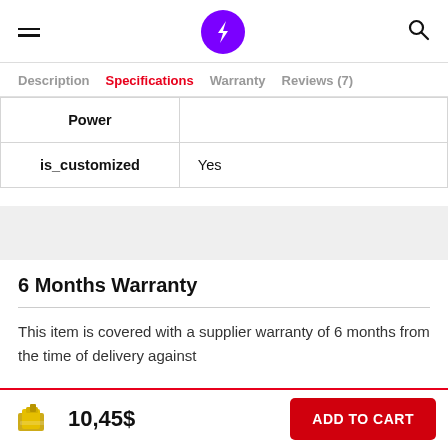Navigation header with hamburger menu, purple lightning bolt logo, and search icon
| Attribute | Value |
| --- | --- |
| Power |  |
| is_customized | Yes |
6 Months Warranty
This item is covered with a supplier warranty of 6 months from the time of delivery against
10,45$ ADD TO CART